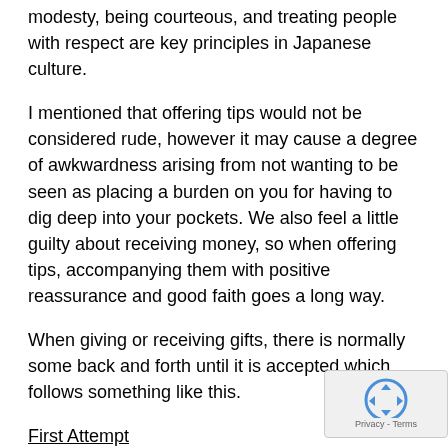modesty, being courteous, and treating people with respect are key principles in Japanese culture.
I mentioned that offering tips would not be considered rude, however it may cause a degree of awkwardness arising from not wanting to be seen as placing a burden on you for having to dig deep into your pockets. We also feel a little guilty about receiving money, so when offering tips, accompanying them with positive reassurance and good faith goes a long way.
When giving or receiving gifts, there is normally some back and forth until it is accepted which follows something like this.
First Attempt
Person A: “This is our expression to thank you for all the great things you have done for me. Please take it.”
Person B: “You don’t have to do that. I don’t deserve it. Please, keep it.”